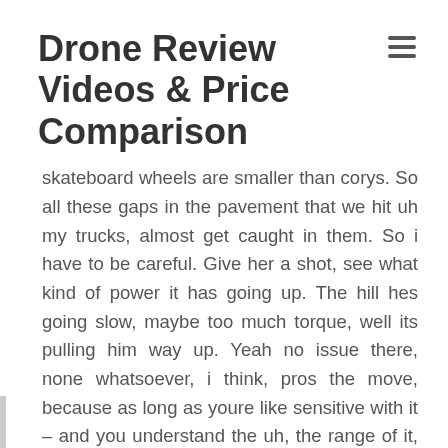Drone Review Videos & Price Comparison
skateboard wheels are smaller than corys. So all these gaps in the pavement that we hit uh my trucks, almost get caught in them. So i have to be careful. Give her a shot, see what kind of power it has going up. The hill hes going slow, maybe too much torque, well its pulling him way up. Yeah no issue there, none whatsoever, i think, pros the move, because as long as youre like sensitive with it – and you understand the uh, the range of it, it gives you the most control because you can accelerate when you need to like. If i want to like pass someone, i can just like hey just look how fast you go. I know i would follow my rump whats, your impression. So far. This is pretty fun. I can tell youre loving it yeah